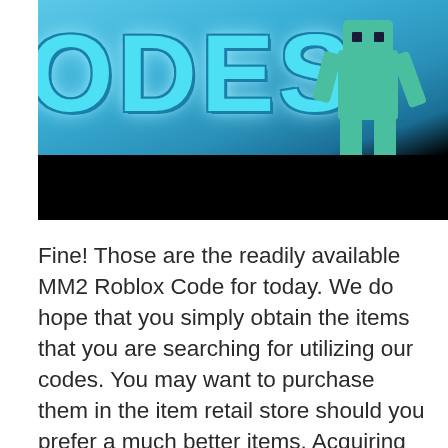[Figure (screenshot): A Roblox game thumbnail showing large blue stylized text reading 'ODES' (part of 'CODES') with a Roblox character figure on the right side, and a black banner at the bottom of the image.]
Fine! Those are the readily available MM2 Roblox Code for today. We do hope that you simply obtain the items that you are searching for utilizing our codes. You may want to purchase them in the item retail store should you prefer a much better items. Acquiring the items is not poor at all. Eventually, It shows some admiration